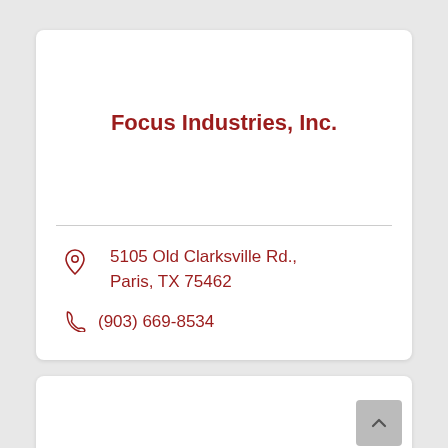Focus Industries, Inc.
5105 Old Clarksville Rd., Paris, TX 75462
(903) 669-8534